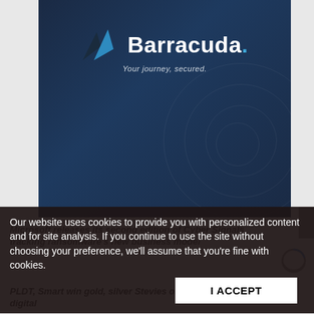[Figure (logo): Barracuda Networks logo on dark navy blue background with tagline 'Your journey, secured.' and decorative watermark pattern]
Our website uses cookies to provide you with personalized content and for site analysis. If you continue to use the site without choosing your preference, we'll assume that you're fine with cookies.
I ACCEPT
Microsoft releases its second edition of Cyber Signals tracking ransomware's new business model
PLDT, Smart win gold, silver Stevies on consumer safety, digital